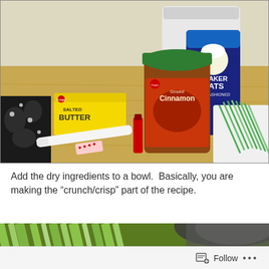[Figure (photo): Kitchen counter with baking ingredients: Kroger Salted Butter box, a red bottle, a jar of cinnamon with green lid, Quaker Old Fashioned Oats canister, a large white plastic container, and a tray of green onions on a wooden cutting board.]
Add the dry ingredients to a bowl.  Basically, you are making the “crunch/crisp” part of the recipe.
[Figure (photo): Close-up of green stalks (celery or similar) being added to a bowl, partially cropped.]
Follow ...